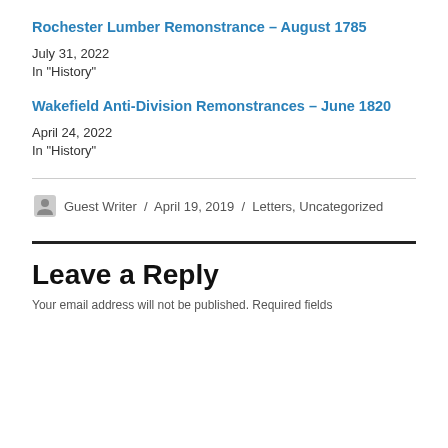Rochester Lumber Remonstrance – August 1785
July 31, 2022
In "History"
Wakefield Anti-Division Remonstrances – June 1820
April 24, 2022
In "History"
Guest Writer / April 19, 2019 / Letters, Uncategorized
Leave a Reply
Your email address will not be published. Required fields